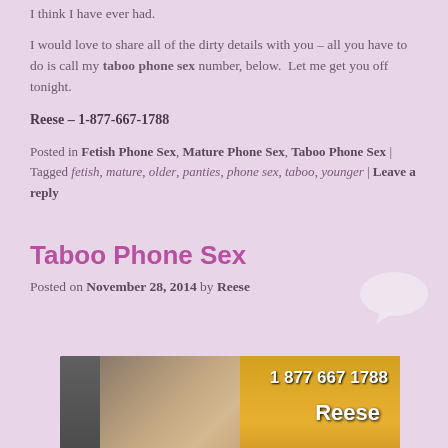I think I have ever had.
I would love to share all of the dirty details with you – all you have to do is call my taboo phone sex number, below.  Let me get you off tonight.
Reese – 1-877-667-1788
Posted in Fetish Phone Sex, Mature Phone Sex, Taboo Phone Sex | Tagged fetish, mature, older, panties, phone sex, taboo, younger | Leave a reply
Taboo Phone Sex
Posted on November 28, 2014 by Reese
[Figure (photo): Photo of a blonde woman with text overlay showing phone number 1 877 667 1788 and name Reese]